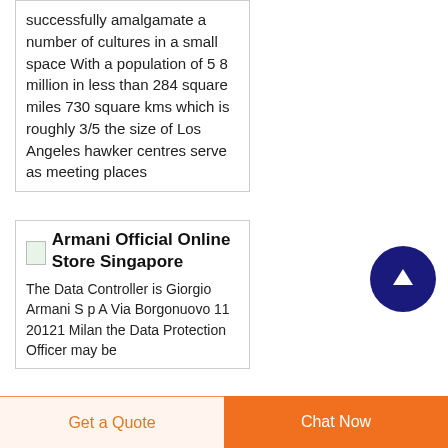successfully amalgamate a number of cultures in a small space With a population of 5 8 million in less than 284 square miles 730 square kms which is roughly 3/5 the size of Los Angeles hawker centres serve as meeting places
Armani Official Online Store Singapore
The Data Controller is Giorgio Armani S p A Via Borgonuovo 11 20121 Milan the Data Protection Officer may be
[Figure (other): Scroll-to-top button: dark navy blue circle with white upward arrow]
Get a Quote
Chat Now